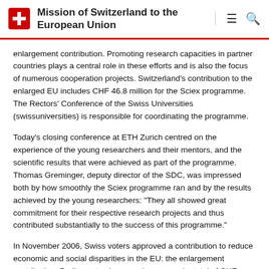Mission of Switzerland to the European Union
enlargement contribution. Promoting research capacities in partner countries plays a central role in these efforts and is also the focus of numerous cooperation projects. Switzerland's contribution to the enlarged EU includes CHF 46.8 million for the Sciex programme. The Rectors' Conference of the Swiss Universities (swissuniversities) is responsible for coordinating the programme.
Today's closing conference at ETH Zurich centred on the experience of the young researchers and their mentors, and the scientific results that were achieved as part of the programme. Thomas Greminger, deputy director of the SDC, was impressed both by how smoothly the Sciex programme ran and by the results achieved by the young researchers: "They all showed great commitment for their respective research projects and thus contributed substantially to the success of this programme."
In November 2006, Swiss voters approved a contribution to reduce economic and social disparities in the EU: the enlargement contribution. Parliament subsequently approved a total of CHF 1.302